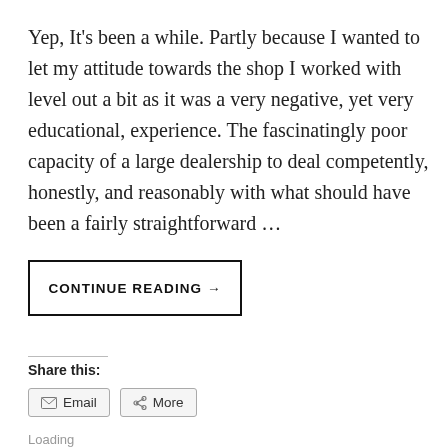Yep, It's been a while. Partly because I wanted to let my attitude towards the shop I worked with level out a bit as it was a very negative, yet very educational, experience. The fascinatingly poor capacity of a large dealership to deal competently, honestly, and reasonably with what should have been a fairly straightforward …
CONTINUE READING →
Share this:
Email
More
Loading